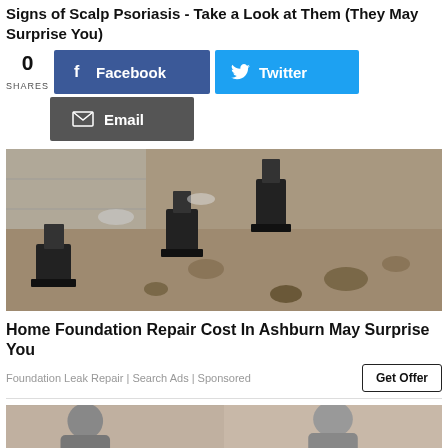Signs of Scalp Psoriasis - Take a Look at Them (They May Surprise You)
0 SHARES
[Figure (screenshot): Facebook share button (blue)]
[Figure (screenshot): Twitter share button (light blue)]
[Figure (screenshot): Email share button (dark gray)]
[Figure (photo): Construction photo showing foundation repair with black metal piers along a concrete wall, excavated trench with dirt and rocks]
Home Foundation Repair Cost In Ashburn May Surprise You
Foundation Leak Repair | Search Ads | Sponsored
Get Offer
[Figure (photo): Partial image of two people, bottom of page, cropped]